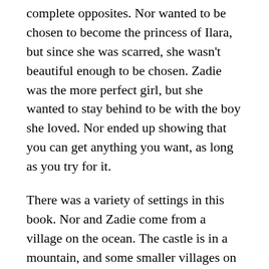complete opposites. Nor wanted to be chosen to become the princess of Ilara, but since she was scarred, she wasn't beautiful enough to be chosen. Zadie was the more perfect girl, but she wanted to stay behind to be with the boy she loved. Nor ended up showing that you can get anything you want, as long as you try for it.
There was a variety of settings in this book. Nor and Zadie come from a village on the ocean. The castle is in a mountain, and some smaller villages on land were described as well. These different settings challenged the characters who weren't used to the different kinds of land.
I loved this book so much! I don't know how I will